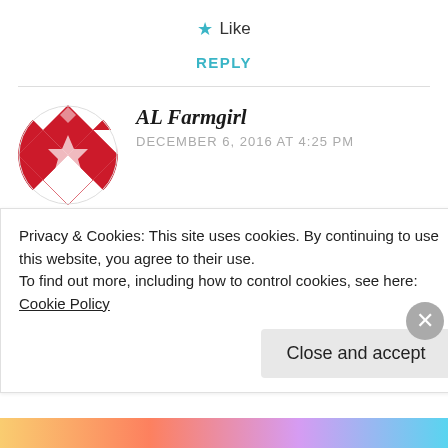★ Like
REPLY
[Figure (illustration): Round avatar image with red and white geometric diamond/quilt pattern]
AL Farmgirl
DECEMBER 6, 2016 AT 4:25 PM
Wow! You are doing it right! Smart to do this while you had everything and everyone there. I'm looking forward to seeing what
Privacy & Cookies: This site uses cookies. By continuing to use this website, you agree to their use.
To find out more, including how to control cookies, see here: Cookie Policy
Close and accept